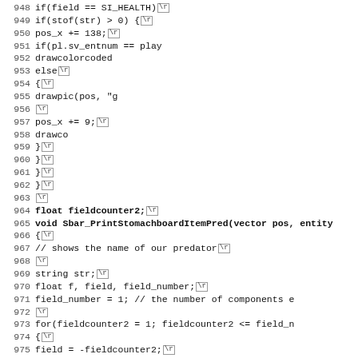Source code listing lines 948-979, showing C/QuakeC code for Sbar functions including field checks, drawpic calls, float declarations, and Sbar_PrintStomachboardItemPred function definition.